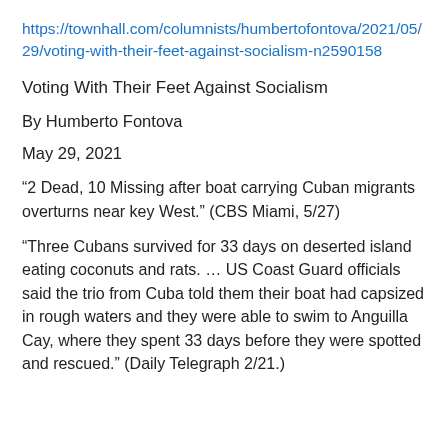https://townhall.com/columnists/humbertofontova/2021/05/29/voting-with-their-feet-against-socialism-n2590158
Voting With Their Feet Against Socialism
By Humberto Fontova
May 29, 2021
“2 Dead, 10 Missing after boat carrying Cuban migrants overturns near key West.” (CBS Miami, 5/27)
“Three Cubans survived for 33 days on deserted island eating coconuts and rats. … US Coast Guard officials said the trio from Cuba told them their boat had capsized in rough waters and they were able to swim to Anguilla Cay, where they spent 33 days before they were spotted and rescued.” (Daily Telegraph 2/21.)